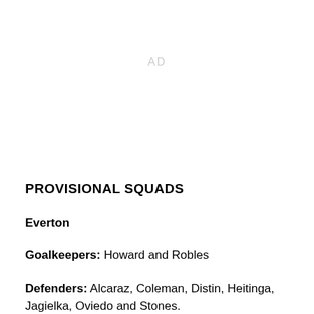[Figure (other): AD placeholder text in light gray]
PROVISIONAL SQUADS
Everton
Goalkeepers: Howard and Robles
Defenders: Alcaraz, Coleman, Distin, Heitinga, Jagielka, Oviedo and Stones.